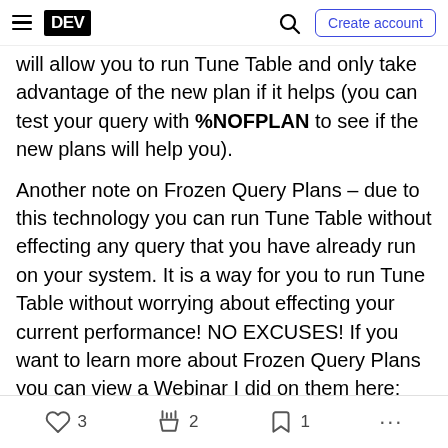DEV | Create account
will allow you to run Tune Table and only take advantage of the new plan if it helps (you can test your query with %NOFPLAN to see if the new plans will help you).
Another note on Frozen Query Plans – due to this technology you can run Tune Table without effecting any query that you have already run on your system. It is a way for you to run Tune Table without worrying about effecting your current performance! NO EXCUSES! If you want to learn more about Frozen Query Plans you can view a Webinar I did on them here:
3  2  1  ...